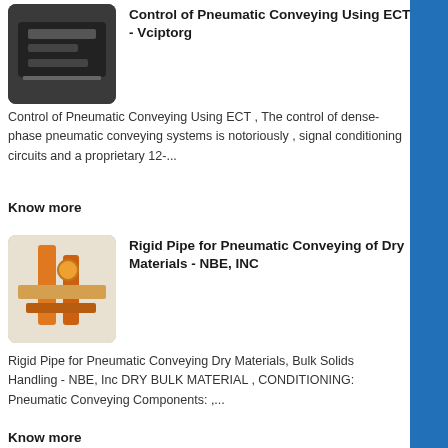Control of Pneumatic Conveying Using ECT - Vciptorg
Control of Pneumatic Conveying Using ECT , The control of dense-phase pneumatic conveying systems is notoriously , signal conditioning circuits and a proprietary 12-...
Know more
[Figure (photo): Photo of industrial conveying machinery, dark/black equipment]
Rigid Pipe for Pneumatic Conveying of Dry Materials - NBE, INC
Rigid Pipe for Pneumatic Conveying Dry Materials, Bulk Solids Handling - NBE, Inc DRY BULK MATERIAL , CONDITIONING: Pneumatic Conveying Components: ,...
Know more
[Figure (photo): Photo of industrial pipe and orange machinery on a yellow/orange frame]
Pneumatic Conveying Systems, Equipment & Bulk Material ,
To determine which pneumatic conveying phase is best for you, , Cyclonaire is a recognized leader in the engineering and manufacturing of pneumatic conveying ,...
Know more
[Figure (photo): Photo of industrial bulk conveying blower/fan equipment, blue and grey]